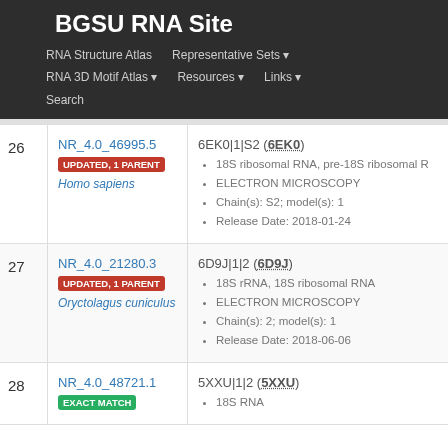BGSU RNA Site
RNA Structure Atlas | Representative Sets ▼ | RNA 3D Motif Atlas ▼ | Resources ▼ | Links ▼ | Search
| # | ID / Organism | Structure Details |
| --- | --- | --- |
| 26 | NR_4.0_46995.5
UPDATED, 1 PARENT
Homo sapiens | 6EK0|1|S2 (6EK0)
• 18S ribosomal RNA, pre-18S ribosomal R
• ELECTRON MICROSCOPY
• Chain(s): S2; model(s): 1
• Release Date: 2018-01-24 |
| 27 | NR_4.0_21280.3
UPDATED, 1 PARENT
Oryctolagus cuniculus | 6D9J|1|2 (6D9J)
• 18S rRNA, 18S ribosomal RNA
• ELECTRON MICROSCOPY
• Chain(s): 2; model(s): 1
• Release Date: 2018-06-06 |
| 28 | NR_4.0_48721.1
EXACT MATCH | 5XXU|1|2 (5XXU)
• 18S RNA |